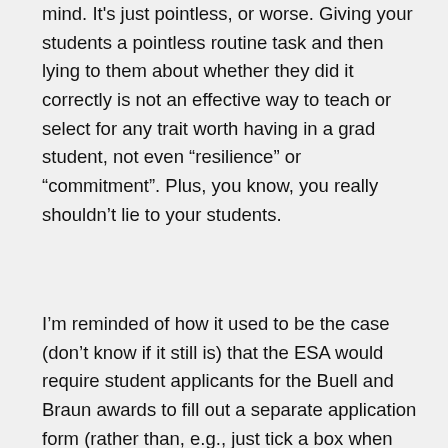mind. It's just pointless, or worse. Giving your students a pointless routine task and then lying to them about whether they did it correctly is not an effective way to teach or select for any trait worth having in a grad student, not even “resilience” or “commitment”. Plus, you know, you really shouldn’t lie to your students.
I’m reminded of how it used to be the case (don’t know if it still is) that the ESA would require student applicants for the Buell and Braun awards to fill out a separate application form (rather than, e.g., just tick a box when submitting their abstract) and write several hundred words on the